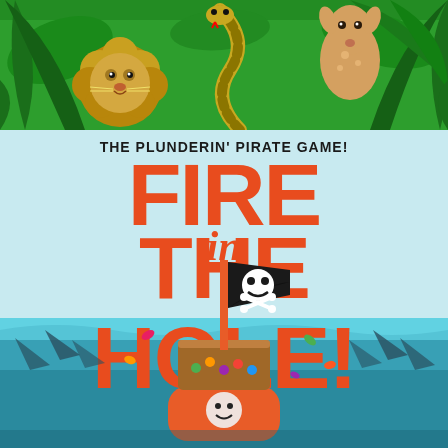[Figure (illustration): Top panel showing jungle scene with green background, lion on the left, snake in the middle, and deer on the right with tropical leaves]
[Figure (illustration): Bottom panel showing Fire in the Hole pirate game box art: light blue background, large orange text reading THE PLUNDERIN PIRATE GAME FIRE IN THE HOLE, with a pirate ship toy featuring black jolly roger flag, colorful candy pieces flying around, and shark fins in teal ocean water at bottom]